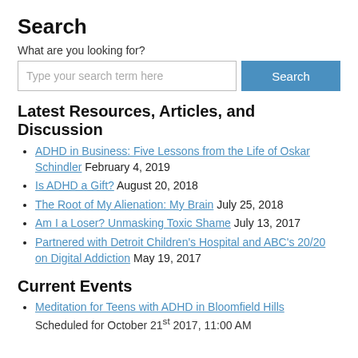Search
What are you looking for?
Type your search term here [search input] Search [button]
Latest Resources, Articles, and Discussion
ADHD in Business: Five Lessons from the Life of Oskar Schindler February 4, 2019
Is ADHD a Gift? August 20, 2018
The Root of My Alienation: My Brain July 25, 2018
Am I a Loser? Unmasking Toxic Shame July 13, 2017
Partnered with Detroit Children's Hospital and ABC's 20/20 on Digital Addiction May 19, 2017
Current Events
Meditation for Teens with ADHD in Bloomfield Hills Scheduled for October 21st 2017, 11:00 AM